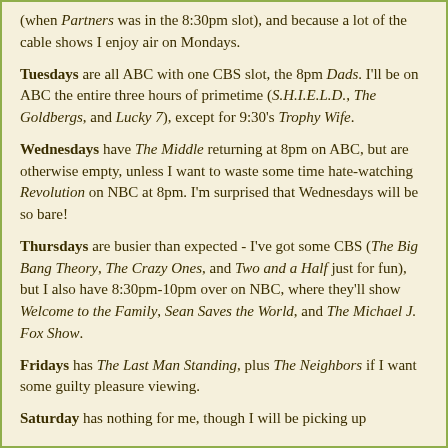(when Partners was in the 8:30pm slot), and because a lot of the cable shows I enjoy air on Mondays.
Tuesdays are all ABC with one CBS slot, the 8pm Dads. I'll be on ABC the entire three hours of primetime (S.H.I.E.L.D., The Goldbergs, and Lucky 7), except for 9:30's Trophy Wife.
Wednesdays have The Middle returning at 8pm on ABC, but are otherwise empty, unless I want to waste some time hate-watching Revolution on NBC at 8pm. I'm surprised that Wednesdays will be so bare!
Thursdays are busier than expected - I've got some CBS (The Big Bang Theory, The Crazy Ones, and Two and a Half just for fun), but I also have 8:30pm-10pm over on NBC, where they'll show Welcome to the Family, Sean Saves the World, and The Michael J. Fox Show.
Fridays has The Last Man Standing, plus The Neighbors if I want some guilty pleasure viewing.
Saturday has nothing for me, though I will be picking up